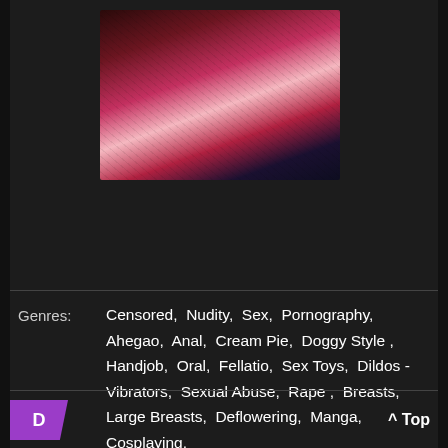[Figure (illustration): Anime/manga style cover art with a female character]
Genres: Censored, Nudity, Sex, Pornography, Ahegao, Anal, Cream Pie, Doggy Style, Handjob, Oral, Fellatio, Sex Toys, Dildos - Vibrators, Sexual Abuse, Rape, Breasts, Large Breasts, Deflowering, Manga, Cosplaying.
D
^ Top